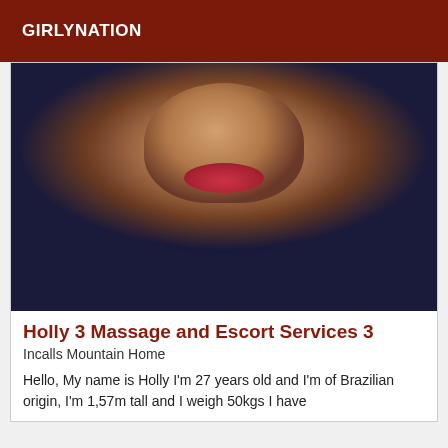GIRLYNATION
[Figure (photo): Close-up photo of a young woman with dark hair and bangs, red lipstick, smiling, against a dark background]
Holly 3 Massage and Escort Services 3
Incalls Mountain Home
Hello, My name is Holly I'm 27 years old and I'm of Brazilian origin, I'm 1,57m tall and I weigh 50kgs I have